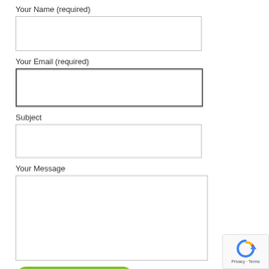Your Name (required)
[Figure (other): Empty text input field for name]
Your Email (required)
[Figure (other): Empty text input field for email, with thicker border indicating focus]
Subject
[Figure (other): Empty text input field for subject]
Your Message
[Figure (other): Empty textarea for message with Appointment Request submit button below]
[Figure (other): reCAPTCHA widget showing Privacy and Terms links]